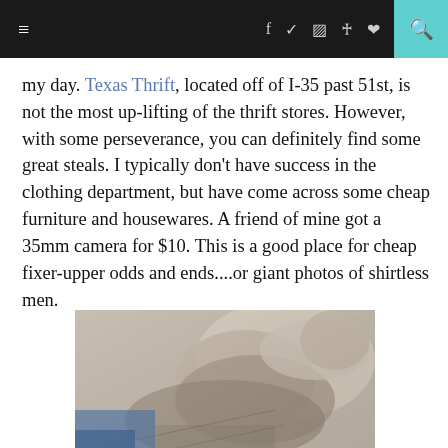≡  f  🐦  📷  ℗  ♥  🔍
my day. Texas Thrift, located off of I-35 past 51st, is not the most up-lifting of the thrift stores. However, with some perseverance, you can definitely find some great steals. I typically don't have success in the clothing department, but have come across some cheap furniture and housewares. A friend of mine got a 35mm camera for $10. This is a good place for cheap fixer-upper odds and ends....or giant photos of shirtless men.
[Figure (photo): A large black and white photo of a shirtless man, displayed at what appears to be a thrift store, lying on a surface with other items visible around it.]